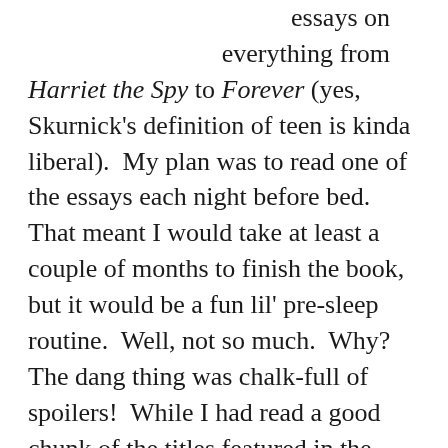essays on everything from Harriet the Spy to Forever (yes, Skurnick's definition of teen is kinda liberal).  My plan was to read one of the essays each night before bed.  That meant I would take at least a couple of months to finish the book, but it would be a fun lil' pre-sleep routine.  Well, not so much.  Why?  The dang thing was chalk-full of spoilers!  While I had read a good chunk of the titles featured in the book, there were many still in my “To Read” shelf on goodreads.  So, I had no choice.  I had to put it down a mere twenty-some pages in.  I know I just could have plowed through, as no plot synopsis or analysis is a substitute for the real thing, but I just